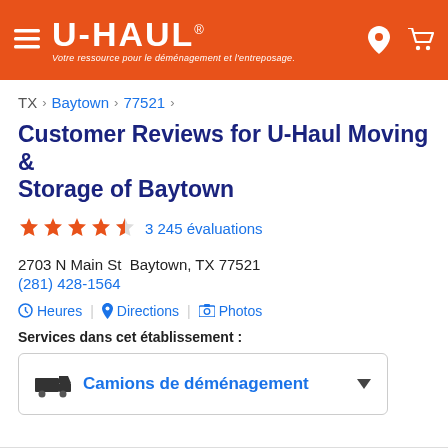U-HAUL® Votre ressource pour le déménagement et l'entreposage.
TX > Baytown > 77521 >
Customer Reviews for U-Haul Moving & Storage of Baytown
3 245 évaluations
2703 N Main St  Baytown, TX 77521
(281) 428-1564
Heures | Directions | Photos
Services dans cet établissement :
Camions de déménagement